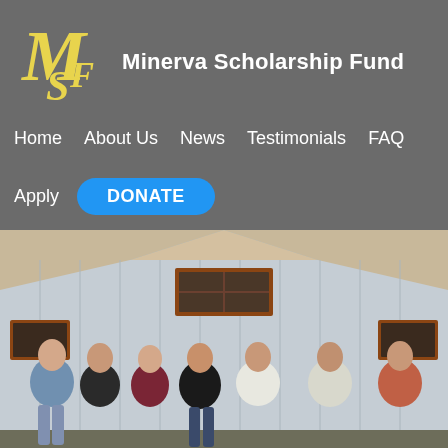[Figure (logo): Minerva Scholarship Fund logo: stylized MSF letters in yellow/gold on grey background]
Minerva Scholarship Fund
Home  About Us  News  Testimonials  FAQ
Apply  DONATE
[Figure (photo): Group photo of seven women standing in front of a grey wooden barn/building with red-trimmed windows]